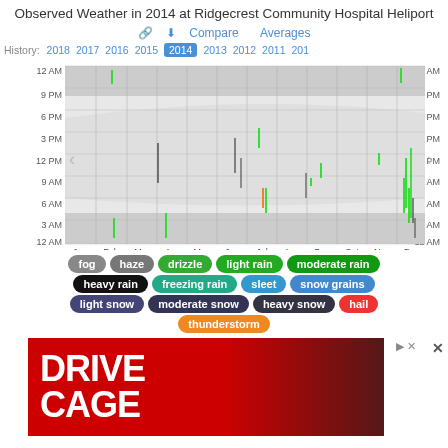Observed Weather in 2014 at Ridgecrest Community Hospital Heliport
[Figure (other): Timeline chart showing observed weather events by time of day (12 AM to 12 AM) across months Jan-Dec 2014, with gray shaded bands and colored vertical bars indicating weather events. Navigation arrows on left and right sides.]
fog  haze  drizzle  light rain  moderate rain  heavy rain  freezing rain  sleet  snow grains  light snow  moderate snow  heavy snow  hail  thunderstorm
[Figure (photo): Advertisement image showing 'DRIVE CAGE' text in white on red background with racing/gaming equipment imagery]